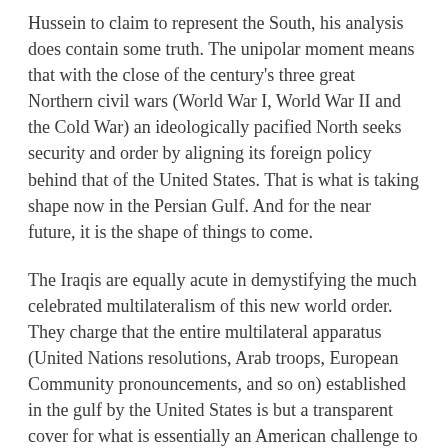Hussein to claim to represent the South, his analysis does contain some truth. The unipolar moment means that with the close of the century's three great Northern civil wars (World War I, World War II and the Cold War) an ideologically pacified North seeks security and order by aligning its foreign policy behind that of the United States. That is what is taking shape now in the Persian Gulf. And for the near future, it is the shape of things to come.
The Iraqis are equally acute in demystifying the much celebrated multilateralism of this new world order. They charge that the entire multilateral apparatus (United Nations resolutions, Arab troops, European Community pronouncements, and so on) established in the gulf by the United States is but a transparent cover for what is essentially an American challenge to Iraqi regional hegemony.
But of course. There is much pious talk about a